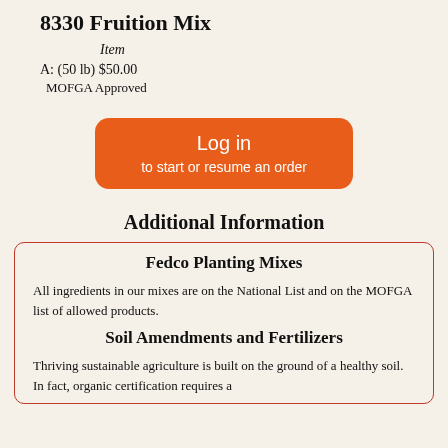8330 Fruition Mix
Item
A: (50 lb) $50.00
MOFGA Approved
[Figure (other): Orange rounded button with white text: 'Log in' and 'to start or resume an order']
Additional Information
Fedco Planting Mixes
All ingredients in our mixes are on the National List and on the MOFGA list of allowed products.
Soil Amendments and Fertilizers
Thriving sustainable agriculture is built on the ground of a healthy soil. In fact, organic certification requires a